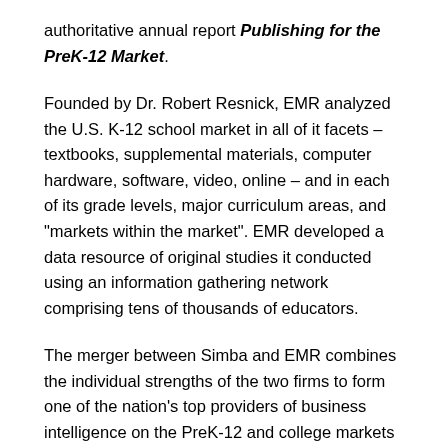authoritative annual report Publishing for the PreK-12 Market.
Founded by Dr. Robert Resnick, EMR analyzed the U.S. K-12 school market in all of it facets – textbooks, supplemental materials, computer hardware, software, video, online – and in each of its grade levels, major curriculum areas, and "markets within the market". EMR developed a data resource of original studies it conducted using an information gathering network comprising tens of thousands of educators.
The merger between Simba and EMR combines the individual strengths of the two firms to form one of the nation's top providers of business intelligence on the PreK-12 and college markets for instructional materials. EMR's strength has been its curriculum-based approach to analyzing the market, focusing on segments such as math, science, social studies and reading. All of this is based on proprietary surveys that EMR has conducted through the years.